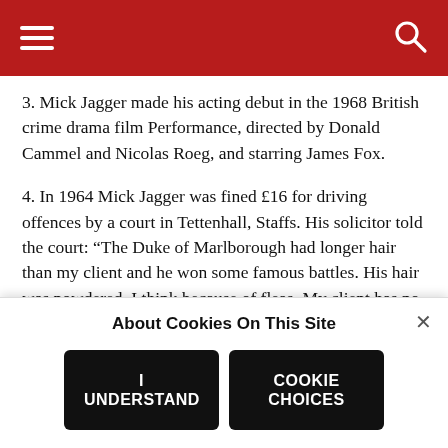3. Mick Jagger made his acting debut in the 1968 British crime drama film Performance, directed by Donald Cammel and Nicolas Roeg, and starring James Fox.
4. In 1964 Mick Jagger was fined £16 for driving offences by a court in Tettenhall, Staffs. His solicitor told the court: “The Duke of Marlborough had longer hair than my client and he won some famous battles. His hair was powdered, I think because of fleas. My client has no fleas.”
5. Jagger reportedly wrote the lyrics to ‘2000 Light Years From Home’ in London’s Brixton prison following his
About Cookies On This Site
I UNDERSTAND
COOKIE CHOICES